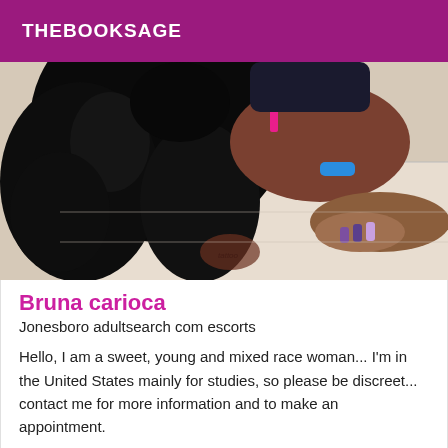THEBOOKSAGE
[Figure (photo): A woman with long curly black hair, wearing a blue bracelet and dark top, leaning forward with decorated nails visible]
Bruna carioca
Jonesboro adultsearch com escorts
Hello, I am a sweet, young and mixed race woman... I'm in the United States mainly for studies, so please be discreet... contact me for more information and to make an appointment.
Online